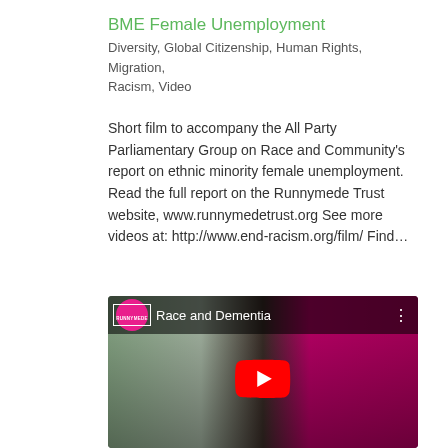BME Female Unemployment
Diversity, Global Citizenship, Human Rights, Migration, Racism, Video
Short film to accompany the All Party Parliamentary Group on Race and Community’s report on ethnic minority female unemployment. Read the full report on the Runnymede Trust website, www.runnymedetrust.org See more videos at: http://www.end-racism.org/film/ Find…
[Figure (screenshot): YouTube video thumbnail showing a man in a blazer in an office with a pink/magenta wall. The video title bar shows 'Race and Dementia' with the Runnymede channel logo. A red YouTube play button is visible in the center.]